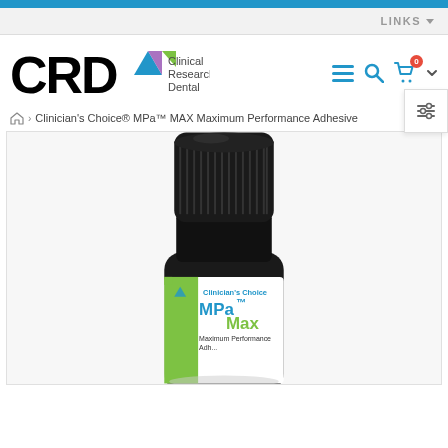CRD Clinical Research Dental
LINKS
Clinician's Choice® MPa™ MAX Maximum Performance Adhesive
[Figure (photo): A small dropper bottle with a black cap, white label showing 'Clinician's Choice MPa Max Maximum Performance Adhesive' with green accent design.]